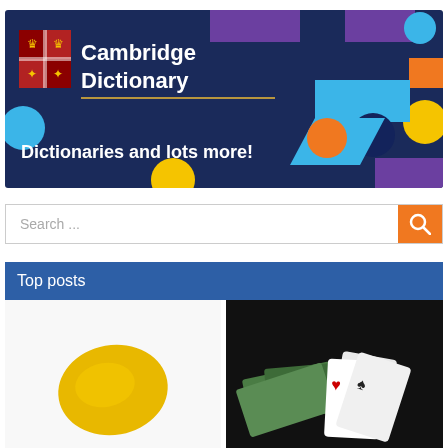[Figure (logo): Cambridge Dictionary banner with logo, shield, colorful geometric shapes on dark navy background, text: Cambridge Dictionary, Dictionaries and lots more!]
Search ...
Top posts
[Figure (photo): Yellow potato or egg-shaped object on white background]
[Figure (photo): Playing cards and dollar bills on black background]